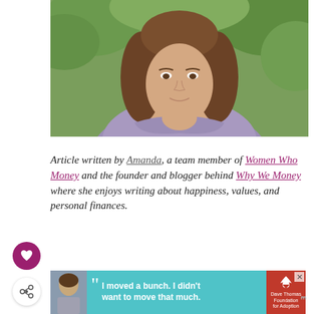[Figure (photo): Portrait photo of a woman with brown hair wearing a purple/lavender top, outdoors with green foliage in background]
Article written by Amanda, a team member of Women Who Money and the founder and blogger behind Why We Money where she enjoys writing about happiness, values, and personal finances.
[Figure (infographic): Advertisement banner: Dave Thomas Foundation for Adoption. Photo of teenage boy, quote: I moved a bunch. I didn't want to move that much.]